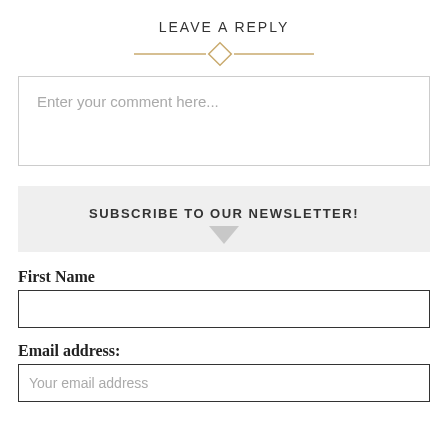LEAVE A REPLY
[Figure (illustration): Decorative horizontal divider with a diamond shape in the center, golden/tan color lines on either side]
Enter your comment here...
SUBSCRIBE TO OUR NEWSLETTER!
First Name
Email address:
Your email address